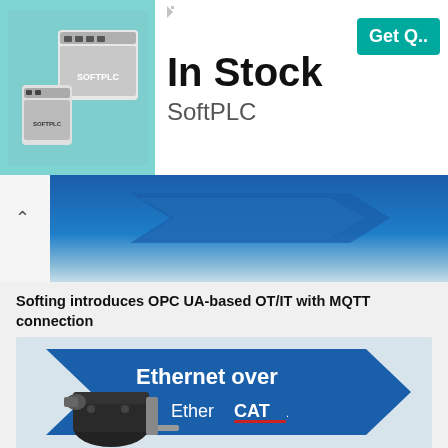[Figure (screenshot): Advertisement banner showing SoftPLC products. Left side has teal/turquoise background with white hardware devices (PLC boxes). Right side shows 'In Stock' in large bold text, 'SoftPLC' below, and a teal 'Get Q...' button. Small ad icon in top right corner.]
[Figure (screenshot): Partial cropped image showing a blue gradient banner/strip at top of a webpage article, with a back/up chevron arrow on the left and some blue decorative chevron shapes visible.]
Softing introduces OPC UA-based OT/IT with MQTT connection
[Figure (photo): Advertisement image showing a blue arrow-shaped banner with 'Ethernet over EtherCAT.' text in white, with a stepper motor (black cylindrical motor with metal shaft) in the foreground.]